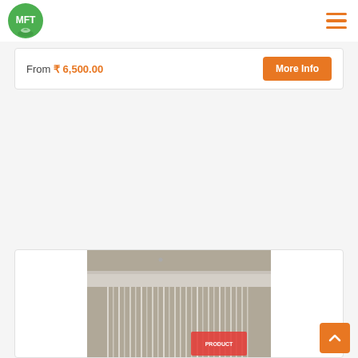[Figure (logo): MFT logo — green circle with white letters MFT and a small green leaf below]
From ₹ 6,500.00
More Info
[Figure (photo): A close-up product photo showing what appears to be a hanging curtain/waterfall display with a product label visible at the bottom right]